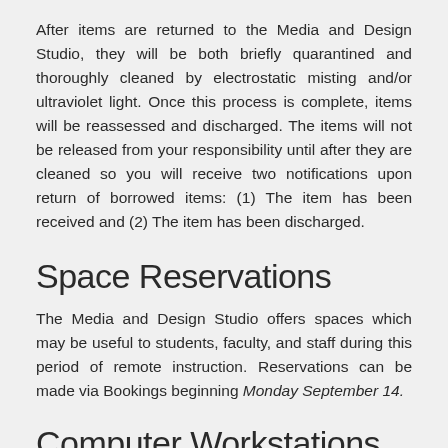After items are returned to the Media and Design Studio, they will be both briefly quarantined and thoroughly cleaned by electrostatic misting and/or ultraviolet light. Once this process is complete, items will be reassessed and discharged. The items will not be released from your responsibility until after they are cleaned so you will receive two notifications upon return of borrowed items: (1) The item has been received and (2) The item has been discharged.
Space Reservations
The Media and Design Studio offers spaces which may be useful to students, faculty, and staff during this period of remote instruction. Reservations can be made via Bookings beginning Monday September 14.
Computer Workstations